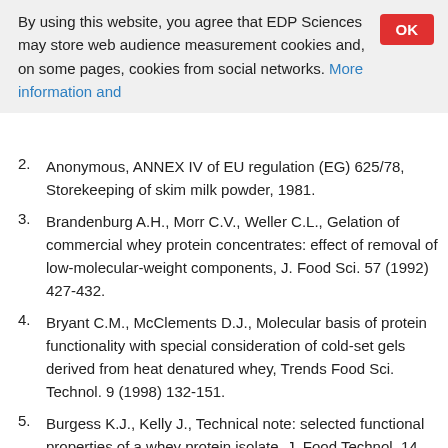By using this website, you agree that EDP Sciences may store web audience measurement cookies and, on some pages, cookies from social networks. More information and
2. Anonymous, ANNEX IV of EU regulation (EG) 625/78, Storekeeping of skim milk powder, 1981.
3. Brandenburg A.H., Morr C.V., Weller C.L., Gelation of commercial whey protein concentrates: effect of removal of low-molecular-weight components, J. Food Sci. 57 (1992) 427-432.
4. Bryant C.M., McClements D.J., Molecular basis of protein functionality with special consideration of cold-set gels derived from heat denatured whey, Trends Food Sci. Technol. 9 (1998) 132-151.
5. Burgess K.J., Kelly J., Technical note: selected functional properties of a whey protein isolate, J. Food Technol. 14 (1979) 325-329.
6. Caussin F., Famelart M.-H., Maubois J.-L., Mineral modulation of thermal aggregation and gelation of whey